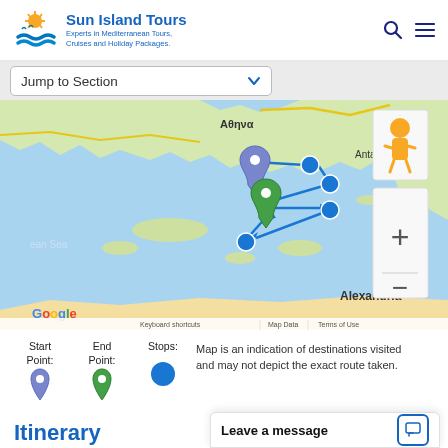Sun Island Tours — Experts in Mediterranean Tours, Cruises and Holiday Packages.
[Figure (other): Navigation dropdown: Jump to Section]
[Figure (map): Google Maps view of Mediterranean/Aegean Sea region showing tour route with blue route arrows connecting stops between Athens area, various Greek islands/Turkish coast stops, with a purple start-point pin, green end-point pin, and blue stop markers. Map labels include Αθηνα, Konya, Antalya, Alexandria, ean Sea. Google logo, Keyboard shortcuts, Map Data, Terms of Use visible. Zoom controls (+/-) and Street View pegman visible.]
Start Point:
[Figure (illustration): Purple/blue teardrop map pin icon (start point)]
End Point:
[Figure (illustration): Green teardrop map pin icon (end point)]
Stops:
[Figure (illustration): Blue filled circle icon (stop marker)]
Map is an indication of destinations visited and may not depict the exact route taken.
Itinerary
Leave a message